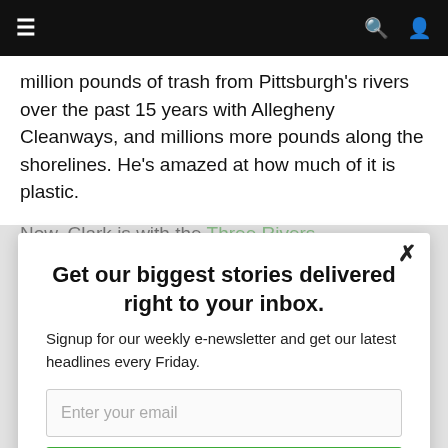≡  🔍  👤
million pounds of trash from Pittsburgh's rivers over the past 15 years with Allegheny Cleanways, and millions more pounds along the shorelines. He's amazed at how much of it is plastic.

Now, Clark is with the Three Rivers Waterkeeper and
Get our biggest stories delivered right to your inbox.
Signup for our weekly e-newsletter and get our latest headlines every Friday.
Enter your email
I'm in.